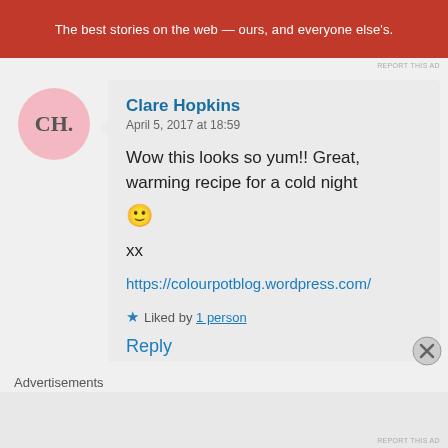[Figure (other): Red advertisement banner with white text: The best stories on the web — ours, and everyone else's.]
REPORT THIS AD
[Figure (other): Pink circular avatar with initials CH.]
Clare Hopkins
April 5, 2017 at 18:59
Wow this looks so yum!! Great, warming recipe for a cold night 🙂

xx

https://colourpotblog.wordpress.com/
★ Liked by 1 person
Reply
Advertisements
REPORT THIS AD